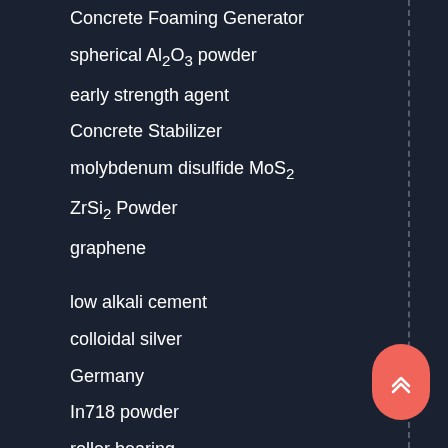Concrete Foaming Generator
spherical Al2O3 powder
early strength agent
Concrete Stabilizer
molybdenum disulfide MoS2
ZrSi2 Powder
graphene
low alkali cement
colloidal silver
Germany
In718 powder
roller bearing
nano materials